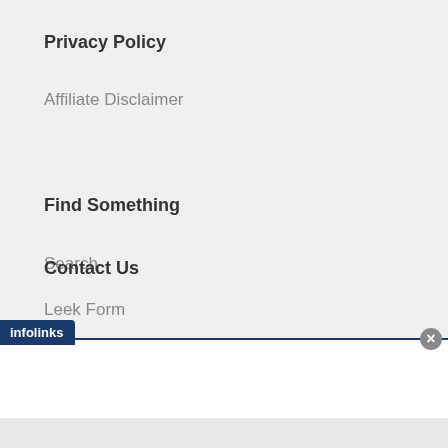Privacy Policy
Affiliate Disclaimer
Find Something
Search
Contact Us
Leek Form